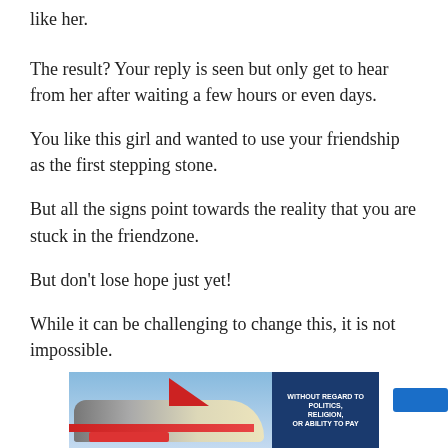like her.
The result? Your reply is seen but only get to hear from her after waiting a few hours or even days.
You like this girl and wanted to use your friendship as the first stepping stone.
But all the signs point towards the reality that you are stuck in the friendzone.
But don't lose hope just yet!
While it can be challenging to change this, it is not impossible.
[Figure (photo): Advertisement banner showing an airplane being loaded with cargo, with text 'WITHOUT REGARD TO POLITICS, RELIGION, OR ABILITY TO PAY']